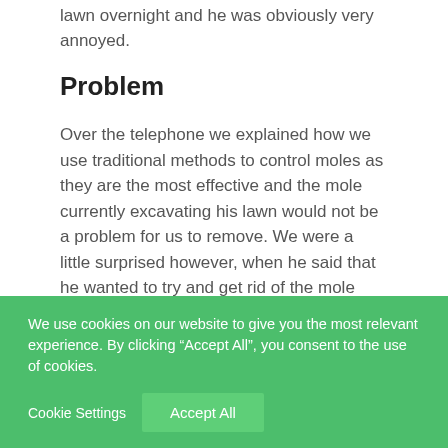lawn overnight and he was obviously very annoyed.
Problem
Over the telephone we explained how we use traditional methods to control moles as they are the most effective and the mole currently excavating his lawn would not be a problem for us to remove. We were a little surprised however, when he said that he wanted to try and get rid of the mole himself. He was very proud of his lawn and
We use cookies on our website to give you the most relevant experience. By clicking “Accept All”, you consent to the use of cookies.
Cookie Settings    Accept All